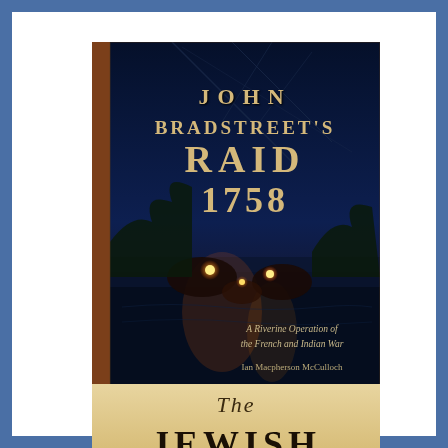[Figure (photo): Book cover of 'John Bradstreet's Raid 1758: A Riverine Operation of the French and Indian War' by Ian Macpherson McCulloch. Dark blue/navy background with ship rigging and a dramatic nighttime river battle scene with glowing lights. Title text in cream/gold serif font. A brown spine visible on left edge.]
[Figure (photo): Partial view of a second book cover with parchment/tan background showing the word 'The' in script and 'JEWISH' in large serif capitals, partially cut off at bottom of page.]